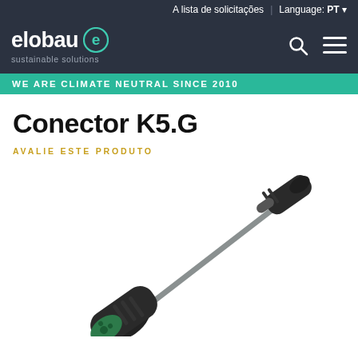A lista de solicitações  |  Language: PT
[Figure (logo): elobau sustainable solutions logo with stylized 'e' icon in green/teal circle on dark navy background]
WE ARE CLIMATE NEUTRAL SINCE 2010
Conector K5.G
AVALIE ESTE PRODUTO
[Figure (photo): K5.G connector product photo: black cylindrical connector with green-tipped female end on the bottom left and a smaller male connector end on the upper right, connected by a grey cable, shown on white background]